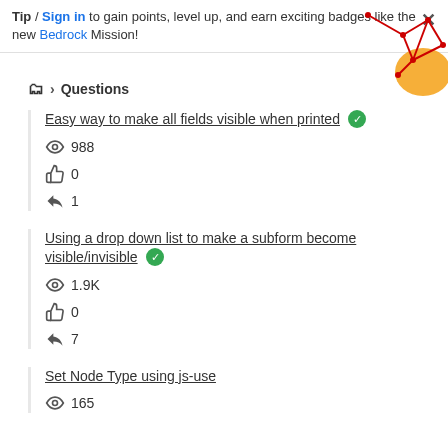Tip / Sign in to gain points, level up, and earn exciting badges like the new Bedrock Mission!
🗂 > Questions
Easy way to make all fields visible when printed ✅ 👁 988 👍 0 ↩ 1
Using a drop down list to make a subform become visible/invisible ✅ 👁 1.9K 👍 0 ↩ 7
Set Node Type using js-use 👁 165